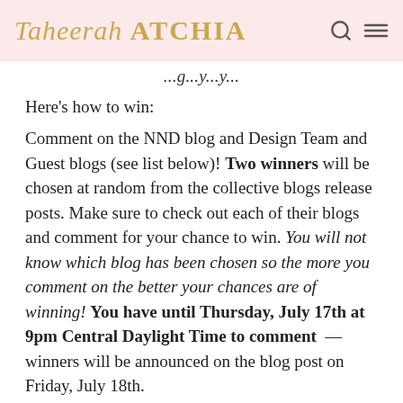Taheerah ATCHIA
[continuing text above cut]
Here's how to win:
Comment on the NND blog and Design Team and Guest blogs (see list below)! Two winners will be chosen at random from the collective blogs release posts. Make sure to check out each of their blogs and comment for your chance to win. You will not know which blog has been chosen so the more you comment on the better your chances are of winning! You have until Thursday, July 17th at 9pm Central Daylight Time to comment — winners will be announced on the blog post on Friday, July 18th.
Check out all these awesome Design Team Blogs below to enter: